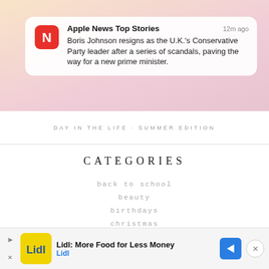[Figure (screenshot): Apple News notification banner showing: 'Apple News Top Stories · 12m ago · Boris Johnson resigns as the U.K.'s Conservative Party leader after a series of scandals, paving the way for a new prime minister.']
DAY IN THE LIFE · SUMMER EDITION
CATEGORIES
back to school
beauty
birthdays
christmas
craft projects
day in the life
doodle town
easter
elf on the shelf
faith
fall
family book club
[Figure (screenshot): Advertisement banner for Lidl: 'Lidl: More Food for Less Money' with Lidl logo and navigation arrow button and close button]